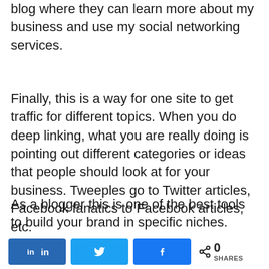blog where they can learn more about my business and use my social networking services.
Finally, this is a way for one site to get traffic for different topics. When you do deep linking, what you are really doing is pointing out different categories or ideas that people should look at for your business. Tweeples go to Twitter articles, Facebook fanatics to Facebook articles, etc.
As a blogger this is one of the best tools to build your brand in specific niches. Deep linking to individual pages make a difference for specific clients.Many of my LinkedIn clients
[Figure (other): Social sharing bar with LinkedIn, Twitter, and Facebook share buttons, plus a share count showing 0 SHARES]